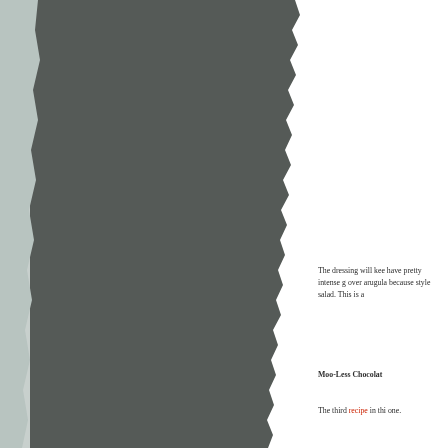[Figure (photo): A photograph with a torn paper edge effect on the right side, dark gray/charcoal tones filling the left portion of the page.]
The dressing will kee have pretty intense g over arugula because style salad. This is a
Moo-Less Chocolat
The third recipe in thi one.